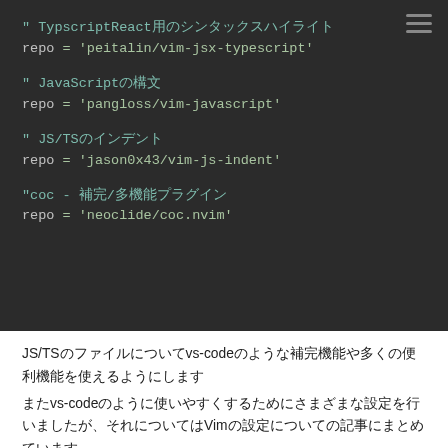[Figure (screenshot): Dark-themed code editor screenshot showing Vim plugin configuration with TypescriptReact, JavaScript, JS/TS indent, and coc.nvim plugin entries with repo assignments.]
JS/TSのファイルについてvs-codeのような補完機能や多くの便利機能を使えるようにします
またvs-codeのように使いやすくするためにさまざまな設定を行いましたが、それについてはVimの設定についての記事にまとめています
Vim-fzfで色々なファイルを検索する機能
vim-fzfのtsxファイルでfiletype　typescriptreact　になっていないことにより
tsx　typescript.tsx　filetypeが typescriptreact にならない